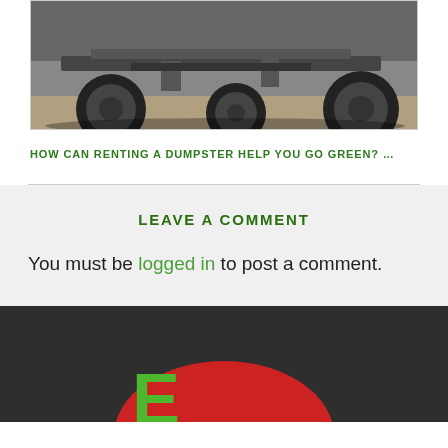[Figure (photo): Partial view of a large truck/dumpster vehicle undercarriage and tires on a paved surface, cropped at top]
HOW CAN RENTING A DUMPSTER HELP YOU GO GREEN? …
LEAVE A COMMENT
You must be logged in to post a comment.
[Figure (logo): Partial company logo with green letter E and red circular shape on dark background]